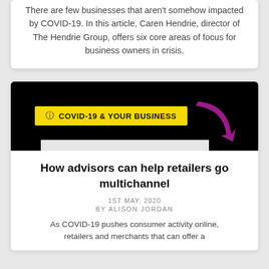There are few businesses that aren't somehow impacted by COVID-19. In this article, Caren Hendrie, director of The Hendrie Group, offers six core areas of focus for business owners in crisis.
[Figure (infographic): Black banner with yellow badge reading 'COVID-19 & YOUR BUSINESS' and a magenta/purple curved arrow pointing down-right]
How advisors can help retailers go multichannel
1ST MAY, 2020
BY ALISON JORDAN
As COVID-19 pushes consumer activity online, retailers and merchants that can offer a